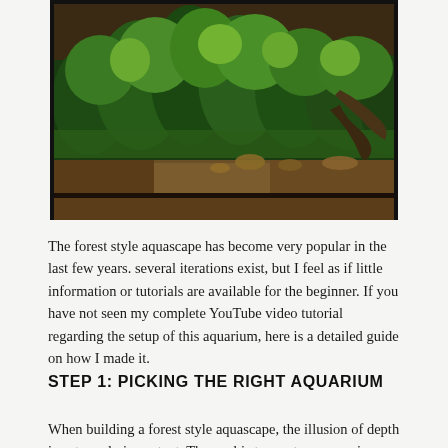[Figure (photo): A forest style aquascape aquarium with lush green plants, moss, driftwood, and sandy substrate, placed on a wooden surface, viewed through glass.]
The forest style aquascape has become very popular in the last few years. several iterations exist, but I feel as if little information or tutorials are available for the beginner. If you have not seen my complete YouTube video tutorial regarding the setup of this aquarium, here is a detailed guide on how I made it.
STEP 1: PICKING THE RIGHT AQUARIUM
When building a forest style aquascape, the illusion of depth is extremely important. The goal is to create an aquarium that not only looks bigger than it actually is,